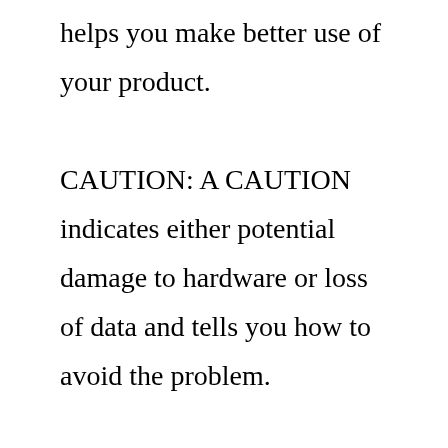helps you make better use of your product. CAUTION: A CAUTION indicates either potential damage to hardware or loss of data and tells you how to avoid the problem. Dell EMC ECS is a complete software-defined cloud storage platform that supports the storage, manipulation, and analysis of safety and security video and unstructured data on a massive scale on commodity hardware. ECS is specifically designed to support the mobile, cloud, and Big Data